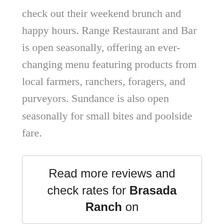check out their weekend brunch and happy hours. Range Restaurant and Bar is open seasonally, offering an ever-changing menu featuring products from local farmers, ranchers, foragers, and purveyors. Sundance is also open seasonally for small bites and poolside fare.
Pop into the General Store to find everything you need to stock your cabin. You can also find homemade and artisan gifts or grab a coffee or latte to go.
Read more reviews and check rates for Brasada Ranch on